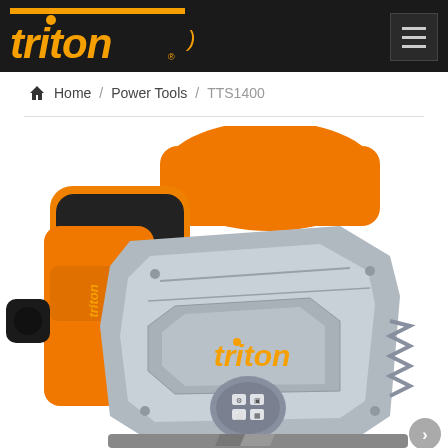Triton Tools navigation header with logo and hamburger menu
Home / Power Tools / TTS1400
[Figure (photo): Close-up photo of a Triton TTS1400 circular/track saw. The tool has an orange and black upper body with ergonomic grip, and a large silver metallic blade guard housing featuring the orange Triton logo on its face. A control dial/wheel is visible at the bottom center of the blade guard. The tool is shown against a white background.]